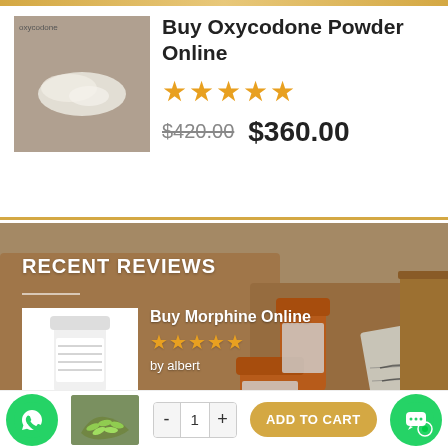[Figure (photo): Product image of oxycodone powder - white powder on dark background]
Buy Oxycodone Powder Online
★★★★★
$420.00  $360.00
[Figure (photo): Background photo of prescription bottles and a handwritten prescription slip on a cardboard box]
RECENT REVIEWS
[Figure (photo): Small thumbnail of white pill bottle]
Buy Morphine Online
★★★★★ by albert
[Figure (photo): Small thumbnail of morphine vials]
Buy Morphine...
★★★★★ by Brandom
[Figure (photo): Green WhatsApp button icon]
[Figure (photo): Small thumbnail of green pills]
- 1 +
ADD TO CART
[Figure (photo): Green chat bubble button icon]